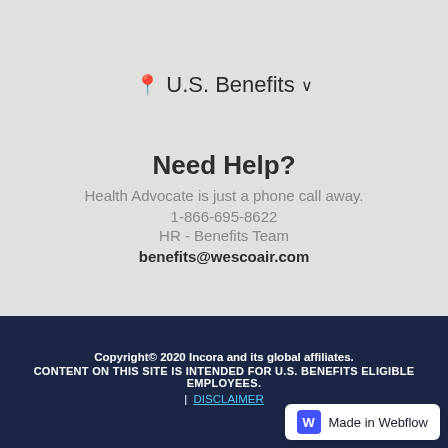📍 U.S. Benefits ∨
Need Help?
Health Advocate is just a phone call away.
1-866-695-8622
HR - Benefits Team
benefits@wescoair.com
Copyright© 2020 Incora and its global affiliates.
CONTENT ON THIS SITE IS INTENDED FOR U.S. BENEFITS ELIGIBLE EMPLOYEES.
| DISCLAIMER
Made in Webflow